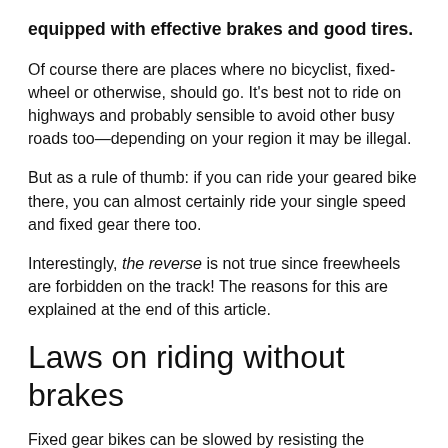equipped with effective brakes and good tires.
Of course there are places where no bicyclist, fixed-wheel or otherwise, should go. It’s best not to ride on highways and probably sensible to avoid other busy roads too—depending on your region it may be illegal.
But as a rule of thumb: if you can ride your geared bike there, you can almost certainly ride your single speed and fixed gear there too.
Interestingly, the reverse is not true since freewheels are forbidden on the track! The reasons for this are explained at the end of this article.
Laws on riding without brakes
Fixed gear bikes can be slowed by resisting the rotation of the pedals. Some experienced riders become so confident doing this that they consider their brakes to be